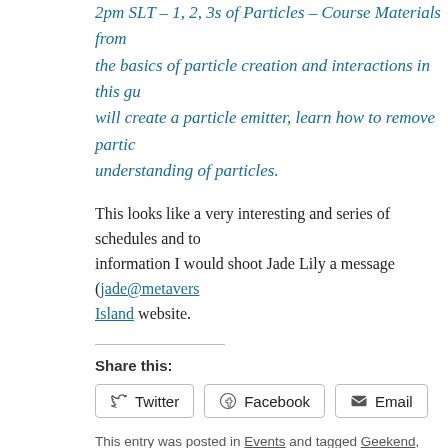2pm SLT – 1, 2, 3s of Particles – Course Materials from the basics of particle creation and interactions in this guide. You will create a particle emitter, learn how to remove particles understanding of particles.
This looks like a very interesting and series of schedules and topics. For more information I would shoot Jade Lily a message (jade@metaverse...) or visit the Orange Island website.
Share this:
Twitter Facebook Email
This entry was posted in Events and tagged Geekend, Orange Island. Bookm...
← DJing Tip & Trick: While DJing in Second Life, turn down or off EAX
1 Response to Orange Presents: Geekend!